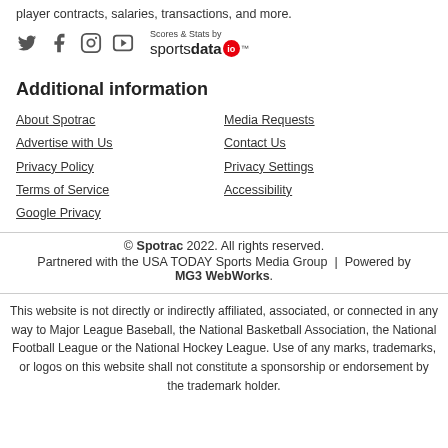player contracts, salaries, transactions, and more.
[Figure (logo): Social media icons (Twitter, Facebook, Instagram, YouTube) and Scores & Stats by sportsdata.io logo]
Additional information
About Spotrac
Advertise with Us
Privacy Policy
Terms of Service
Google Privacy
Media Requests
Contact Us
Privacy Settings
Accessibility
© Spotrac 2022. All rights reserved. Partnered with the USA TODAY Sports Media Group | Powered by MG3 WebWorks.
This website is not directly or indirectly affiliated, associated, or connected in any way to Major League Baseball, the National Basketball Association, the National Football League or the National Hockey League. Use of any marks, trademarks, or logos on this website shall not constitute a sponsorship or endorsement by the trademark holder.